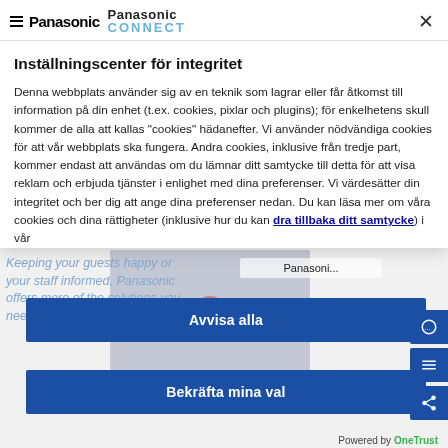[Figure (screenshot): Panasonic logo (left, with hamburger menu icon) and Panasonic CONNECT logo (right) in modal header]
Inställningscenter för integritet
Denna webbplats använder sig av en teknik som lagrar eller får åtkomst till information på din enhet (t.ex. cookies, pixlar och plugins); för enkelhetens skull kommer de alla att kallas "cookies" hädanefter. Vi använder nödvändiga cookies för att vår webbplats ska fungera. Andra cookies, inklusive från tredje part, kommer endast att användas om du lämnar ditt samtycke till detta för att visa reklam och erbjuda tjänster i enlighet med dina preferenser. Vi värdesätter din integritet och ber dig att ange dina preferenser nedan. Du kan läsa mer om våra cookies och dina rättigheter (inklusive hur du kan dra tillbaka ditt samtycke) i vår
Avvisa alla
Bekräfta mina val
Powered by OneTrust